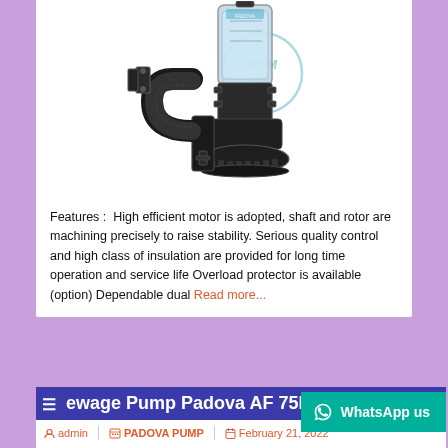[Figure (photo): Submersible sewage pump (Padova brand) with black cast iron body, curved inlet pipe with flange, cylindrical motor housing with transparent/glass upper section showing internal components, and circular base with ventilation slots. MSM logo watermark visible.]
Features : High efficient motor is adopted, shaft and rotor are machining precisely to raise stability. Serious quality control and high class of insulation are provided for long time operation and service life Overload protector is available (option) Dependable dual Read more...
ewage Pump Padova AF 75F
admin | PADOVA PUMP | February 21, 2022